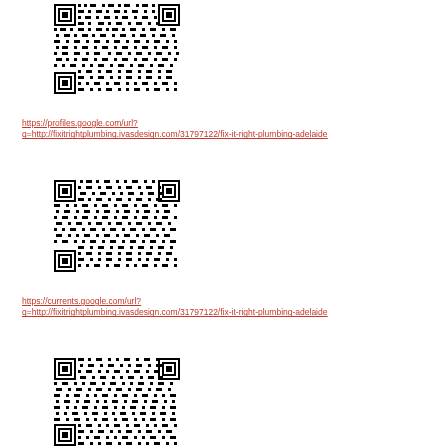[Figure (other): QR code linking to https://profiles.google.com/url?q=http://fixitrightplumbing.ivasdesign.com/31797122/fix-it-right-plumbing-adelaide]
https://profiles.google.com/url?q=http://fixitrightplumbing.ivasdesign.com/31797122/fix-it-right-plumbing-adelaide
[Figure (other): QR code linking to https://currents.google.com/url?q=http://fixitrightplumbing.ivasdesign.com/31797122/fix-it-right-plumbing-adelaide]
https://currents.google.com/url?q=http://fixitrightplumbing.ivasdesign.com/31797122/fix-it-right-plumbing-adelaide
[Figure (other): QR code (third instance)]